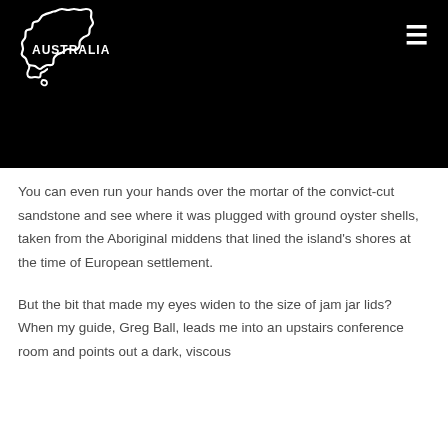[Figure (logo): White outline of Australia map with 'AUSTRALIA' text inside on black background, with hamburger menu icon top right]
You can even run your hands over the mortar of the convict-cut sandstone and see where it was plugged with ground oyster shells, taken from the Aboriginal middens that lined the island's shores at the time of European settlement.
But the bit that made my eyes widen to the size of jam jar lids? When my guide, Greg Ball, leads me into an upstairs conference room and points out a dark, viscous